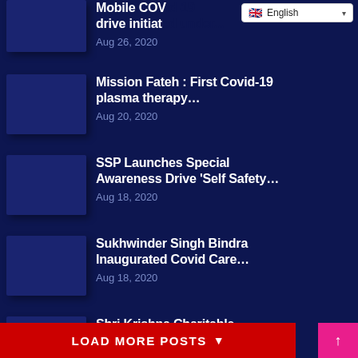English (language selector)
Mobile COVID drive initiated under... Aug 26, 2020
Mission Fateh : First Covid-19 plasma therapy... Aug 20, 2020
SSP Launches Special Awareness Drive 'Self Safety... Aug 18, 2020
Sukhwinder Singh Bindra Inaugurated Covid Care... Aug 18, 2020
Shri Krishna Charitable Hospital added 20 more... Aug 18, 2020
LOAD MORE POSTS